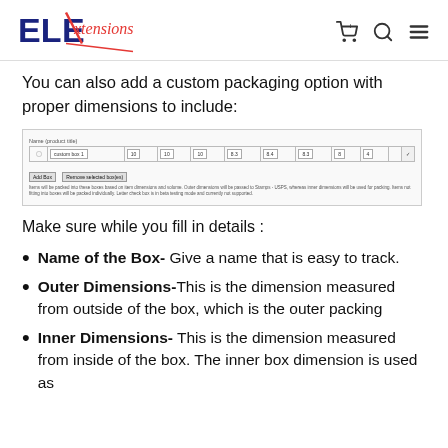ELExtensions
You can also add a custom packaging option with proper dimensions to include:
[Figure (screenshot): Screenshot of a custom box packaging configuration table with fields for box name, dimensions, and buttons for Add Box and Remove selected box(es). A note explains outer dimensions are passed to Stamps/USPS and inner dimensions are used for packing.]
Make sure while you fill in details :
Name of the Box- Give a name that is easy to track.
Outer Dimensions- This is the dimension measured from outside of the box, which is the outer packing
Inner Dimensions- This is the dimension measured from inside of the box. The inner box dimension is used as